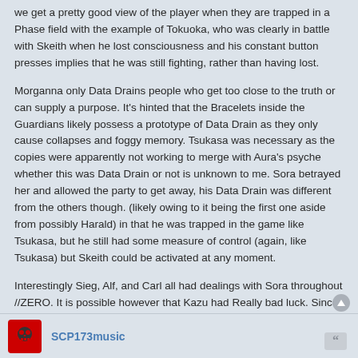we get a pretty good view of the player when they are trapped in a Phase field with the example of Tokuoka, who was clearly in battle with Skeith when he lost consciousness and his constant button presses implies that he was still fighting, rather than having lost.
Morganna only Data Drains people who get too close to the truth or can supply a purpose. It's hinted that the Bracelets inside the Guardians likely possess a prototype of Data Drain as they only cause collapses and foggy memory. Tsukasa was necessary as the copies were apparently not working to merge with Aura's psyche whether this was Data Drain or not is unknown to me. Sora betrayed her and allowed the party to get away, his Data Drain was different from the others though. (likely owing to it being the first one aside from possibly Harald) in that he was trapped in the game like Tsukasa, but he still had some measure of control (again, like Tsukasa) but Skeith could be activated at any moment.
Interestingly Sieg, Alf, and Carl all had dealings with Sora throughout //ZERO. It is possible however that Kazu had Really bad luck. Since Shugo's player was friends with the Hayami family when they were young he played on Kazu's character for a time and there he met the child Aura. It is possible that Shugo inadvertently got Kazu Data Drained because of his previous dealings with Aura.
SCP173music